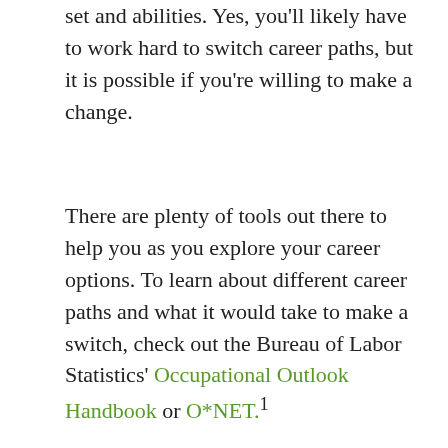set and abilities. Yes, you'll likely have to work hard to switch career paths, but it is possible if you're willing to make a change.
There are plenty of tools out there to help you as you explore your career options. To learn about different career paths and what it would take to make a switch, check out the Bureau of Labor Statistics' Occupational Outlook Handbook or O*NET.¹
Ask for help. As you weigh your options, don't be afraid to turn to others for help. Ask your family members and close friends for advice on which career path to take; they know you well, and they can likely provide insights about who you are that you might not even recognize. If you're a college